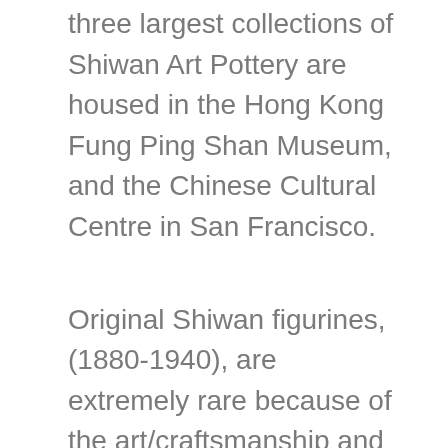three largest collections of Shiwan Art Pottery are housed in the Hong Kong Fung Ping Shan Museum, and the Chinese Cultural Centre in San Francisco.
Original Shiwan figurines, (1880-1940), are extremely rare because of the art/craftsmanship and their delicate, fragile nature. The greater the detailing, the more likely the figure has been made by a master artist, hence the higher value. Also the larger the piece the more valuable, (8-0" or pieces over 20.0" tall) are extremely rare. The age of Shiwan ware can be verified by the markings, or lack of markings, the fact